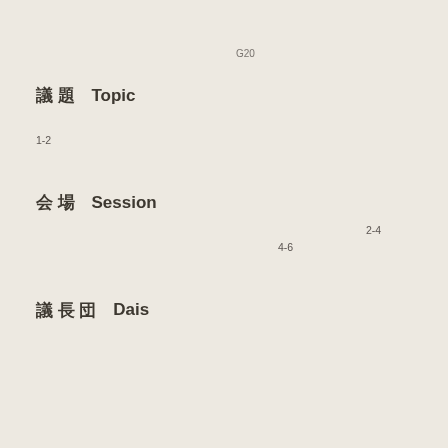G20
議 題 Topic
1-2
会 場 Session
2-4　　　　　　　　　　　　　　　　　　　　　　　　　　4-6
議 長 団 Dais